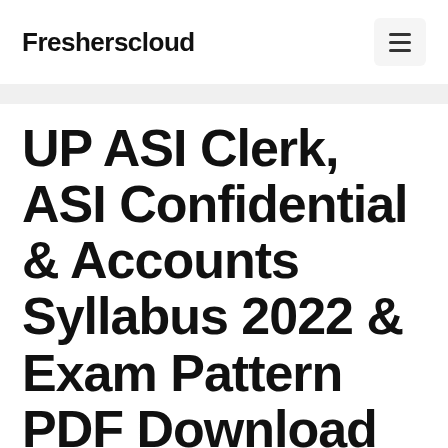Fresherscloud
UP ASI Clerk, ASI Confidential & Accounts Syllabus 2022 & Exam Pattern PDF Download